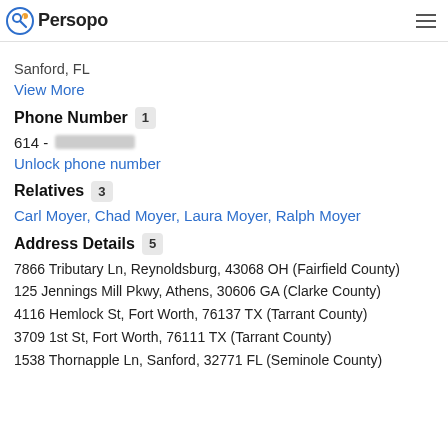Persopo
Athens, GA
Sanford, FL
View More
Phone Number 1
614 - [redacted]
Unlock phone number
Relatives 3
Carl Moyer, Chad Moyer, Laura Moyer, Ralph Moyer
Address Details 5
7866 Tributary Ln, Reynoldsburg, 43068 OH (Fairfield County)
125 Jennings Mill Pkwy, Athens, 30606 GA (Clarke County)
4116 Hemlock St, Fort Worth, 76137 TX (Tarrant County)
3709 1st St, Fort Worth, 76111 TX (Tarrant County)
1538 Thornapple Ln, Sanford, 32771 FL (Seminole County)